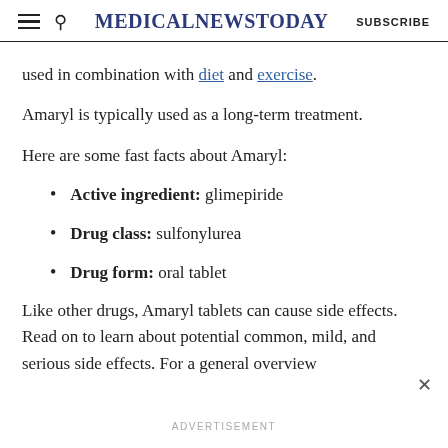MedicalNewsToday | SUBSCRIBE
used in combination with diet and exercise.
Amaryl is typically used as a long-term treatment.
Here are some fast facts about Amaryl:
Active ingredient: glimepiride
Drug class: sulfonylurea
Drug form: oral tablet
Like other drugs, Amaryl tablets can cause side effects. Read on to learn about potential common, mild, and serious side effects. For a general overview
ADVERTISEMENT